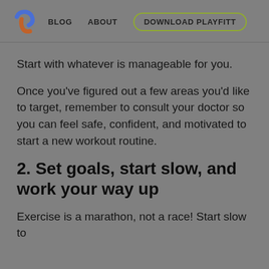BLOG   ABOUT   DOWNLOAD PLAYFITT
Start with whatever is manageable for you.
Once you've figured out a few areas you'd like to target, remember to consult your doctor so you can feel safe, confident, and motivated to start a new workout routine.
2. Set goals, start slow, and work your way up
Exercise is a marathon, not a race! Start slow to